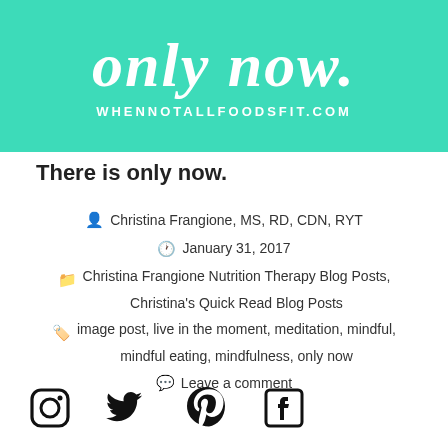[Figure (illustration): Teal/mint banner with cursive white script text 'only now.' and URL 'WHENNOTALLFOODSFIT.COM' in white sans-serif below]
There is only now.
Christina Frangione, MS, RD, CDN, RYT
January 31, 2017
Christina Frangione Nutrition Therapy Blog Posts, Christina's Quick Read Blog Posts
image post, live in the moment, meditation, mindful, mindful eating, mindfulness, only now
Leave a comment
[Figure (illustration): Social media icons: Instagram, Twitter, Pinterest, Facebook]